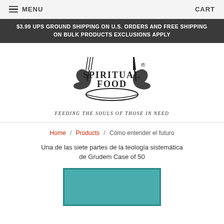MENU  CART
$3.99 UPS GROUND SHIPPING ON U.S. ORDERS AND FREE SHIPPING ON BULK PRODUCTS EXCLUSIONS APPLY
[Figure (logo): Spiritual Food logo — two hands holding fork and knife framing a plate, with text SPIRITUAL FOOD and tagline Feeding the Souls of Those in Need]
Home / Products / Cómo entender el futuro
Una de las siete partes de la teología sistemática de Grudem Case of 50
[Figure (photo): Teal/turquoise colored book cover, partially visible at bottom of page]